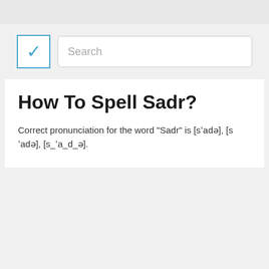[Figure (screenshot): Search bar UI with checkbox and text input field showing placeholder text 'Search']
How To Spell Sadr?
Correct pronunciation for the word "Sadr" is [sˈadə], [sˈadə], [s_ˈa_d_ə].